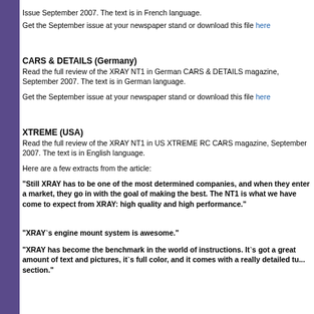Issue September 2007. The text is in French language.
Get the September issue at your newspaper stand or download this file here
CARS & DETAILS (Germany)
Read the full review of the XRAY NT1 in German CARS & DETAILS magazine, September 2007. The text is in German language.
Get the September issue at your newspaper stand or download this file here
XTREME (USA)
Read the full review of the XRAY NT1 in US XTREME RC CARS magazine, September 2007. The text is in English language.
Here are a few extracts from the article:
"Still XRAY has to be one of the most determined companies, and when they enter a market, they go in with the goal of making the best. The NT1 is what we have come to expect from XRAY: high quality and high performance."
"XRAY`s engine mount system is awesome."
"XRAY has become the benchmark in the world of instructions. It`s got a great amount of text and pictures, it`s full color, and it comes with a really detailed tu... section."